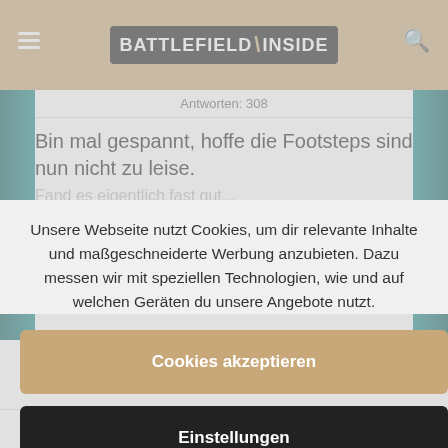BATTLEFIELD \ INSIDE
Antworten: 308
Bin mal gespannt, hoffe die Footsteps sind nun nicht zu leise.
Fand es eigentlich fast gut...
Unsere Webseite nutzt Cookies, um dir relevante Inhalte und maßgeschneiderte Werbung anzubieten. Dazu messen wir mit speziellen Technologien, wie und auf welchen Geräten du unsere Angebote nutzt.
Cookies akzeptieren
Einstellungen
28. Januar 2019 um 21:41 ANTWORTEN | #147775